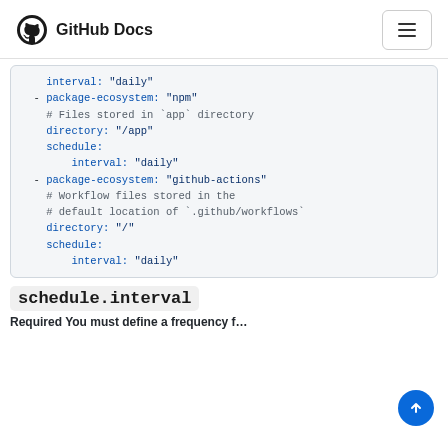GitHub Docs
interval: "daily"

- package-ecosystem: "npm"
  # Files stored in `app` directory
  directory: "/app"
  schedule:
      interval: "daily"

- package-ecosystem: "github-actions"
  # Workflow files stored in the
  # default location of `.github/workflows`
  directory: "/"
  schedule:
      interval: "daily"
schedule.interval
Required You must define a frequency f...